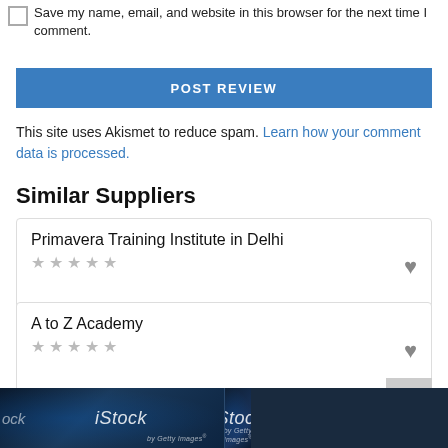Save my name, email, and website in this browser for the next time I comment.
POST REVIEW
This site uses Akismet to reduce spam. Learn how your comment data is processed.
Similar Suppliers
Primavera Training Institute in Delhi
A to Z Academy
[Figure (screenshot): iStock by Getty Images watermark banner]